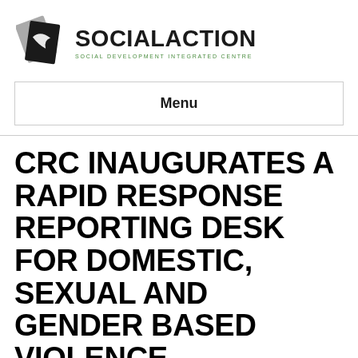[Figure (logo): SocialAction Social Development Integrated Centre logo with stylized black and grey diamond/book icon and organisation name]
Menu
CRC INAUGURATES A RAPID RESPONSE REPORTING DESK FOR DOMESTIC, SEXUAL AND GENDER BASED VIOLENCE